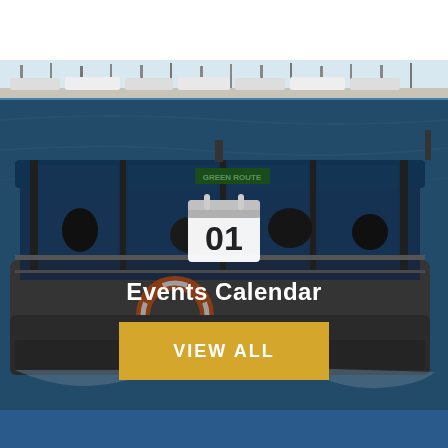[Figure (photo): White sky/background strip at top of page]
[Figure (photo): Marina with boats moored along a dock, viewed from water level, sunny day]
[Figure (photo): A blue water taxi/ferry boat labeled GREEN ROUTE on water, passengers aboard, orange life ring visible on side, wake behind boat]
01
Events Calendar
VIEW ALL